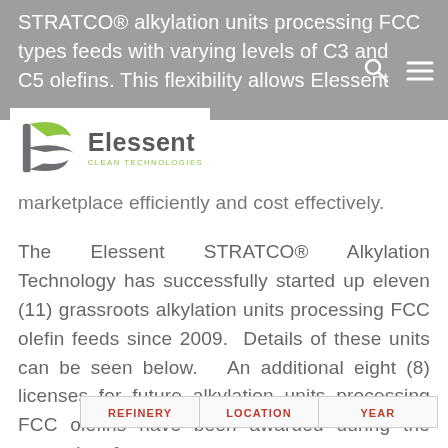STRATCO® alkylation units processing FCC types feeds with varying levels of C3 and C5 olefins. This flexibility allows Elessent marketplace efficiently and cost effectively.
[Figure (logo): Elessent Clean Technologies logo with stylized E icon in green and grey]
marketplace efficiently and cost effectively.
The Elessent STRATCO® Alkylation Technology has successfully started up eleven (11) grassroots alkylation units processing FCC olefin feeds since 2009. Details of these units can be seen below. An additional eight (8) licenses for future alkylation units processing FCC olefins have been awarded during the same time frame.
| REFINERY | LOCATION | YEAR |
| --- | --- | --- |